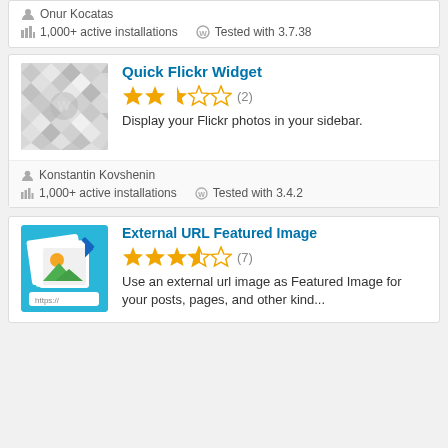Onur Kocatas
1,000+ active installations   Tested with 3.7.38
Quick Flickr Widget
2.5 stars (2)
Display your Flickr photos in your sidebar.
Konstantin Kovshenin
1,000+ active installations   Tested with 3.4.2
External URL Featured Image
3.5 stars (7)
Use an external url image as Featured Image for your posts, pages, and other kind...